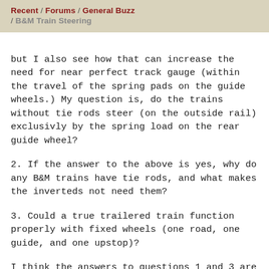Recent / Forums / General Buzz / B&M Train Steering
but I also see how that can increase the need for near perfect track gauge (within the travel of the spring pads on the guide wheels.) My question is, do the trains without tie rods steer (on the outside rail) exclusivly by the spring load on the rear guide wheel?
2. If the answer to the above is yes, why do any B&M trains have tie rods, and what makes the inverteds not need them?
3. Could a true trailered train function properly with fixed wheels (one road, one guide, and one upstop)?
I think the answers to questions 1 and 3 are yes and kind-of, respectively, but i'm not